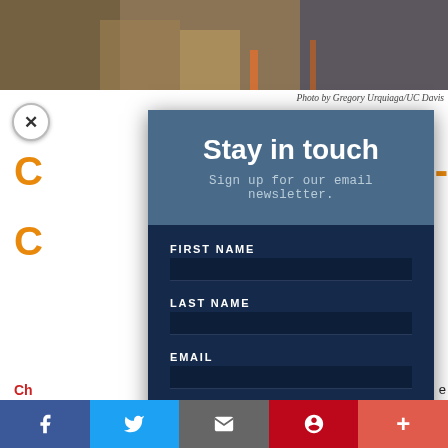[Figure (screenshot): Photo strip at top of page showing partial image of people at a table]
Photo by Gregory Urquiaga/UC Davis
Stay in touch
Sign up for our email newsletter.
FIRST NAME
LAST NAME
EMAIL
Add me to your mailing list
Facebook | Twitter | Email | Pinterest | More